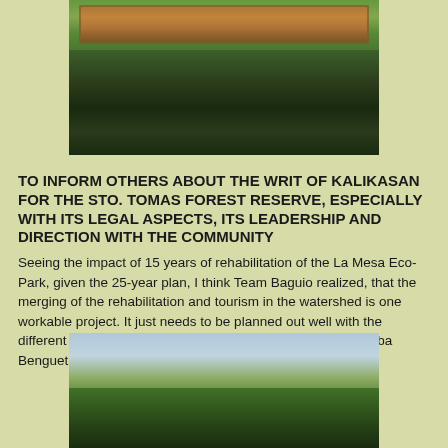[Figure (photo): Photograph of a signboard or bulletin board with plant/nature imagery, set in a forested area with trees and foliage visible]
TO INFORM OTHERS ABOUT THE WRIT OF KALIKASAN FOR THE STO. TOMAS FOREST RESERVE, ESPECIALLY WITH ITS LEGAL ASPECTS, ITS LEADERSHIP AND DIRECTION WITH THE COMMUNITY
Seeing the impact of 15 years of rehabilitation of the La Mesa Eco-Park, given the 25-year plan, I think Team Baguio realized, that the merging of the rehabilitation and tourism in the watershed is one workable project.  It just needs to be planned out well with the different stakeholders, including the indigenous people of Tuba Benguet.
[Figure (photo): Photograph of tall trees with canopy viewed from below, with sky visible in the background — a forested area]